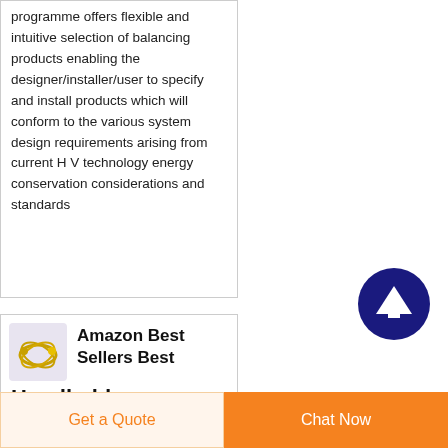Download. This software programme offers flexible and intuitive selection of balancing products enabling the designer/installer/user to specify and install products which will conform to the various system design requirements arising from current H V technology energy conservation considerations and standards
[Figure (logo): Amazon logo with stylized headphones/rings icon on purple-lavender background]
Amazon Best Sellers Best Handheld
Get a Quote   Chat Now